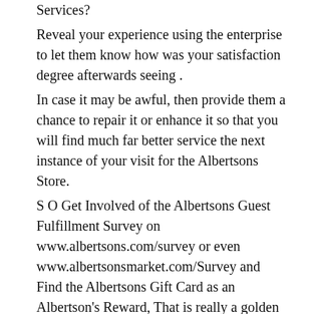Services? Reveal your experience using the enterprise to let them know how was your satisfaction degree afterwards seeing . In case it may be awful, then provide them a chance to repair it or enhance it so that you will find much far better service the next instance of your visit for the Albertsons Store. S O Get Involved of the Albertsons Guest Fulfillment Survey on www.albertsons.com/survey or even www.albertsonsmarket.com/Survey and Find the Albertsons Gift Card as an Albertson's Reward, That is really a golden opportunity for you to save money in the purchase in Albertsons Spots. The Albertsons Customer Satisfaction Survey, identified at www.albertsons.com/survey or